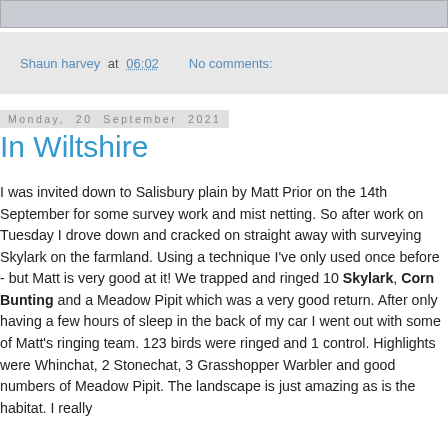[Figure (photo): Partial photo strip showing grey sky/clouds, cropped at top of page]
Shaun harvey at 06:02   No comments:
Monday, 20 September 2021
In Wiltshire
I was invited down to Salisbury plain by Matt Prior on the 14th September for some survey work and mist netting. So after work on Tuesday I drove down and cracked on straight away with surveying Skylark on the farmland. Using a technique I've only used once before - but Matt is very good at it! We trapped and ringed 10 Skylark, Corn Bunting and a Meadow Pipit which was a very good return. After only having a few hours of sleep in the back of my car I went out with some of Matt's ringing team. 123 birds were ringed and 1 control. Highlights were Whinchat, 2 Stonechat, 3 Grasshopper Warbler and good numbers of Meadow Pipit. The landscape is just amazing as is the habitat. I really